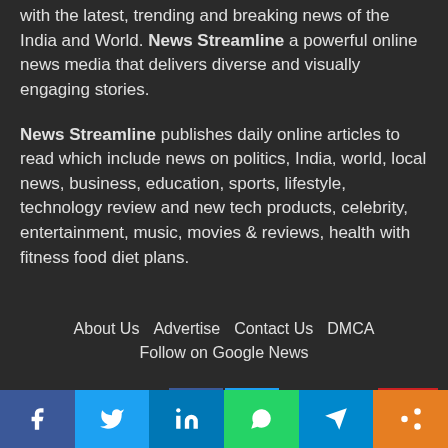with the latest, trending and breaking news of the India and World. News Streamline a powerful online news media that delivers diverse and visually engaging stories.
News Streamline publishes daily online articles to read which include news on politics, India, world, local news, business, education, sports, lifestyle, technology review and new tech products, celebrity, entertainment, music, movies & reviews, health with fitness food diet plans.
About Us   Advertise   Contact Us   DMCA
Follow on Google News